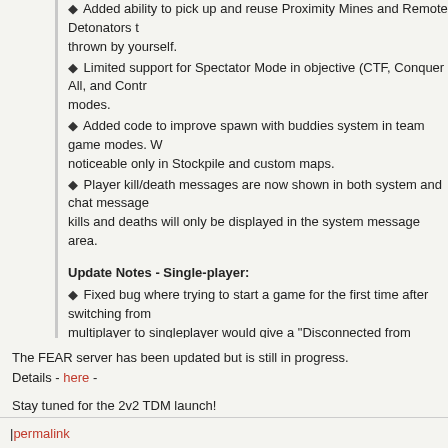◆ Added ability to pick up and reuse Proximity Mines and Remote Detonators thrown by yourself.
◆ Limited support for Spectator Mode in objective (CTF, Conquer All, and Contr modes.
◆ Added code to improve spawn with buddies system in team game modes. W noticeable only in Stockpile and custom maps.
◆ Player kill/death messages are now shown in both system and chat message kills and deaths will only be displayed in the system message area.
Update Notes - Single-player:
◆ Fixed bug where trying to start a game for the first time after switching from multiplayer to singleplayer would give a "Disconnected from Server" error.
Update Notes - Global:
◆ Added widescreen support.
◆ Fixed bug where FEAR.exe would not always start when switching from FEA to FEAR.exe.
The FEAR server has been updated but is still in progress.
Details - here -
Stay tuned for the 2v2 TDM launch!
| permalink